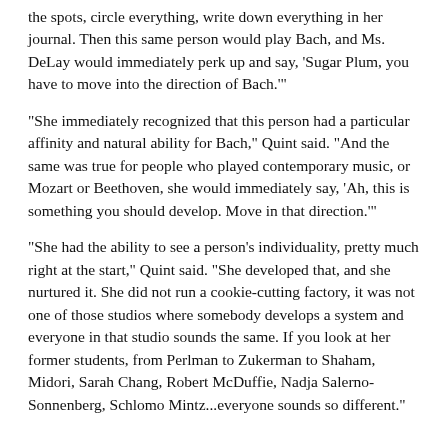the spots, circle everything, write down everything in her journal. Then this same person would play Bach, and Ms. DeLay would immediately perk up and say, 'Sugar Plum, you have to move into the direction of Bach.'
"She immediately recognized that this person had a particular affinity and natural ability for Bach," Quint said. "And the same was true for people who played contemporary music, or Mozart or Beethoven, she would immediately say, 'Ah, this is something you should develop. Move in that direction.'"
"She had the ability to see a person's individuality, pretty much right at the start," Quint said. "She developed that, and she nurtured it. She did not run a cookie-cutting factory, it was not one of those studios where somebody develops a system and everyone in that studio sounds the same. If you look at her former students, from Perlman to Zukerman to Shaham, Midori, Sarah Chang, Robert McDuffie, Nadja Salerno-Sonnenberg, Schlomo Mintz...everyone sounds so different."